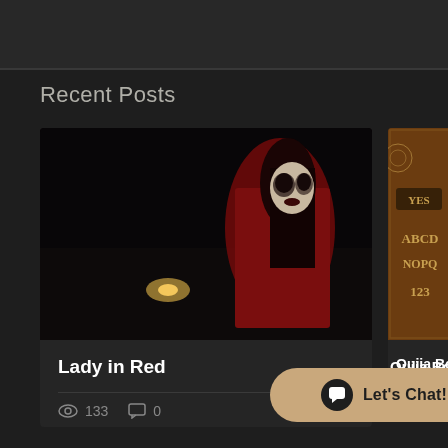[Figure (screenshot): Top dark bar, partial website header]
Recent Posts
[Figure (photo): Dark horror image of woman in red dress with zombie-like face paint, night scene]
Lady in Red
133 views, 0 comments
[Figure (photo): Ouija board with YES, ABCD, NOPQ, 123 visible on wooden board]
Ouija Boards
[Figure (other): Let's Chat! chat button widget in tan/beige rounded rectangle]